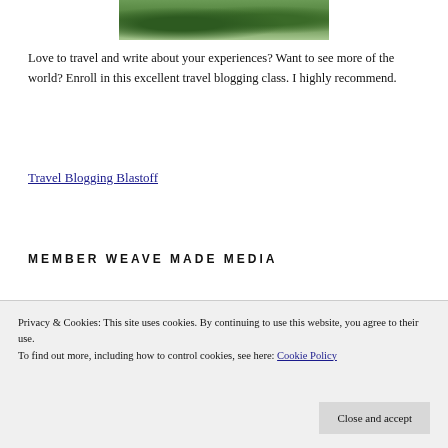[Figure (photo): Partial view of an outdoor photo showing green trees/bushes and a path, cropped at top of page]
Love to travel and write about your experiences? Want to see more of the world? Enroll in this excellent travel blogging class. I highly recommend.
Travel Blogging Blastoff
MEMBER WEAVE MADE MEDIA
Privacy & Cookies: This site uses cookies. By continuing to use this website, you agree to their use.
To find out more, including how to control cookies, see here: Cookie Policy
Close and accept